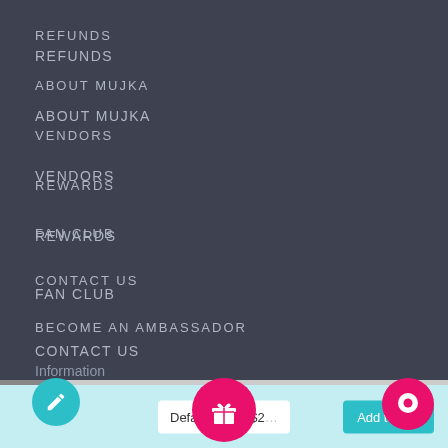REFUNDS
ABOUT MUJKA
VENDORS
REWARDS
FAN CLUB
CONTACT US
BECOME AN AMBASSADOR
Information
All Collections
Find entire Mujka Collection
ustomer Support
Default Title - $2
Add to cart